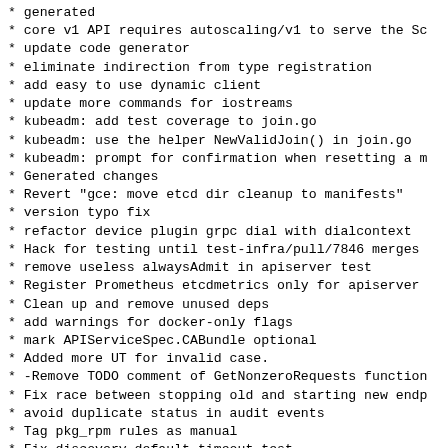* generated
* core v1 API requires autoscaling/v1 to serve the Sc
* update code generator
* eliminate indirection from type registration
* add easy to use dynamic client
* update more commands for iostreams
* kubeadm: add test coverage to join.go
* kubeadm: use the helper NewValidJoin() in join.go
* kubeadm: prompt for confirmation when resetting a m
* Generated changes
* Revert "gce: move etcd dir cleanup to manifests"
* version typo fix
* refactor device plugin grpc dial with dialcontext
* Hack for testing until test-infra/pull/7846 merges
* remove useless alwaysAdmit in apiserver test
* Register Prometheus etcdmetrics only for apiserver
* Clean up and remove unused deps
* add warnings for docker-only flags
* mark APIServiceSpec.CABundle optional
* Added more UT for invalid case.
* -Remove TODO comment of GetNonzeroRequests function
* Fix race between stopping old and starting new endp
* avoid duplicate status in audit events
* Tag pkg_rpm rules as manual
* Fix discovery default timeout test
* Update libcontainer to include PRs with fixes to sy
* Add field selector support to delete, label, annota
* Remove examples directory
* Fix hpa-use-rest-clients help text
* Set names for OpenStack loadbalancer members and mo